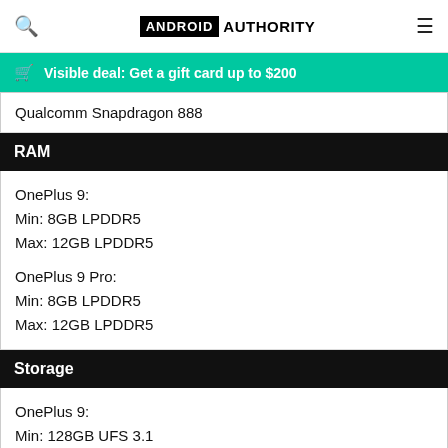Android Authority
Visible deal: Get a gift card up to $200
Qualcomm Snapdragon 888
RAM
OnePlus 9:
Min: 8GB LPDDR5
Max: 12GB LPDDR5

OnePlus 9 Pro:
Min: 8GB LPDDR5
Max: 12GB LPDDR5
Storage
OnePlus 9:
Min: 128GB UFS 3.1